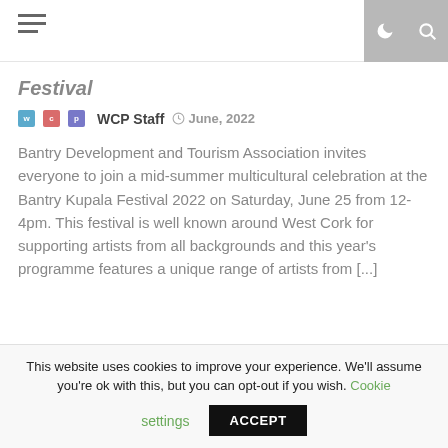WCP Staff  June, 2022
Festival
WCP Staff   June, 2022
Bantry Development and Tourism Association invites everyone to join a mid-summer multicultural celebration at the Bantry Kupala Festival 2022 on Saturday, June 25 from 12-4pm. This festival is well known around West Cork for supporting artists from all backgrounds and this year's programme features a unique range of artists from [...]
Previous  1  ...  8  9  10  11  12  13  14  15  16  ...  54
This website uses cookies to improve your experience. We'll assume you're ok with this, but you can opt-out if you wish. Cookie settings  ACCEPT